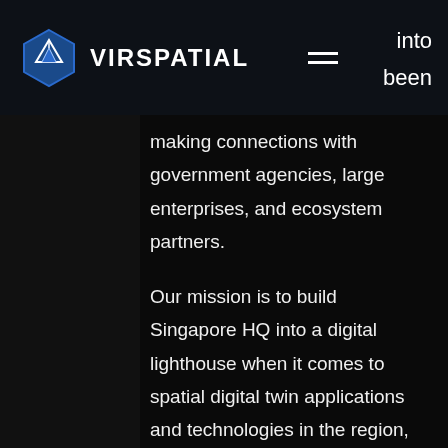VIRSPATIAL
into been making connections with government agencies, large enterprises, and ecosystem partners.

Our mission is to build Singapore HQ into a digital lighthouse when it comes to spatial digital twin applications and technologies in the region, with further global expansion, reach and service. We are dedicated to the field of real-time 3D human-machine interaction based on our core technology in spatial computing and at the same time